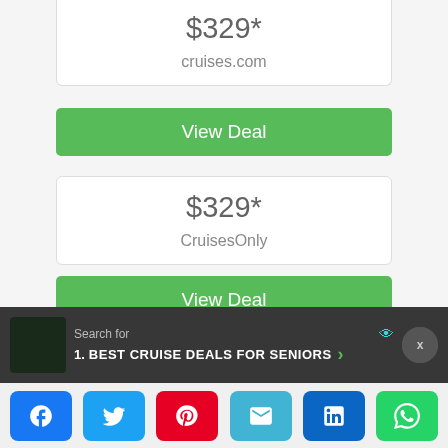$329*
cruises.com
View Deal
$329*
CruisesOnly
View Deal
$329*
Cheap Cruises
Search for
1. BEST CRUISE DEALS FOR SENIORS
[Figure (other): Social share buttons: Facebook, Twitter, Pinterest, Email, LinkedIn, WhatsApp]